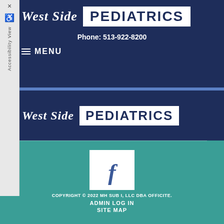[Figure (logo): West Side Pediatrics logo - white text on dark navy background with PEDIATRICS in white box]
Phone: 513-922-8200
≡ MENU
[Figure (logo): West Side Pediatrics logo repeated - second instance]
[Figure (logo): Facebook icon - white square with blue f]
COPYRIGHT © 2022 MH SUB I, LLC DBA OFFICITE.
ADMIN LOG IN
SITE MAP